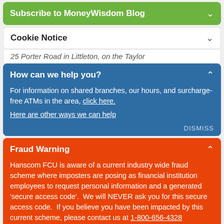Subscribe to MoneyWisdom Blog
Cookie Notice
25 Porter Road in Littleton, on the Taylor
How can we help you?
For information on shared branches, our hours, and surcharge-free ATMs in the area, click here.
Here are other ways we can help
DISMISS
Fraud Warning
Hanscom FCU is aware of a current industry wide fraud scheme where imposters are posing as financial institution employees to request personal information and a generated 'secure access code'.  We will NEVER ask you for this secure access code.  If you believe you have been impacted by this current scheme, please contact us at 1-800-656-4328
DISMISS